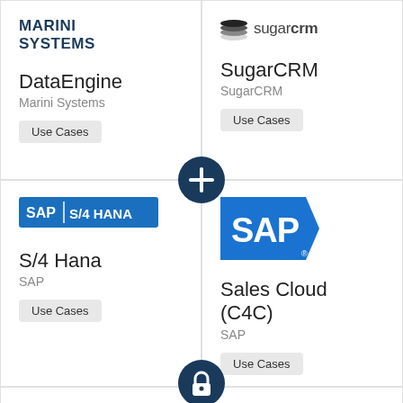[Figure (logo): Marini Systems logo - bold dark blue uppercase text 'MARINI SYSTEMS']
DataEngine
Marini Systems
Use Cases
[Figure (logo): SugarCRM logo - stacked layers icon with 'sugarcrm' text]
SugarCRM
SugarCRM
Use Cases
[Figure (logo): SAP S/4 HANA logo badge in blue]
S/4 Hana
SAP
Use Cases
[Figure (logo): SAP logo - large blue triangle with white SAP text]
Sales Cloud (C4C)
SAP
Use Cases
[Figure (logo): SAP logo - large blue triangle with white SAP text (bottom left)]
[Figure (logo): HubSpot logo - dark text with orange circle dot in the o]